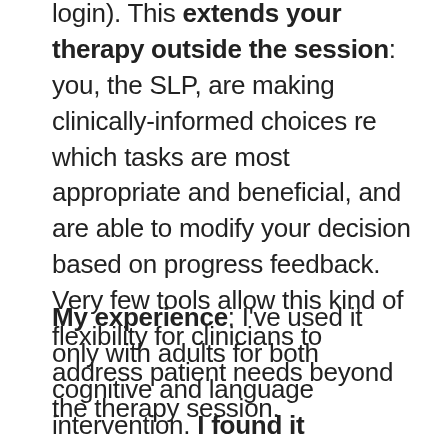login). This extends your therapy outside the session: you, the SLP, are making clinically-informed choices re which tasks are most appropriate and beneficial, and are able to modify your decision based on progress feedback. Very few tools allow this kind of flexibility for clinicians to address patient needs beyond the therapy session.
My experience: I've used it only with adults for both cognitive and language intervention. I found it extremely age-appropriate, interesting and